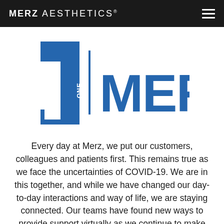MERZ AESTHETICS®
[Figure (logo): One Merz logo — a large stylized numeral '1' with the word 'ONE' written vertically inside it, followed by a vertical separator bar, then 'MERZ' in large bold blue letters. All elements are in blue.]
Every day at Merz, we put our customers, colleagues and patients first. This remains true as we face the uncertainties of COVID-19. We are in this together, and while we have changed our day-to-day interactions and way of life, we are staying connected. Our teams have found new ways to provide support virtually as we continue to make the health